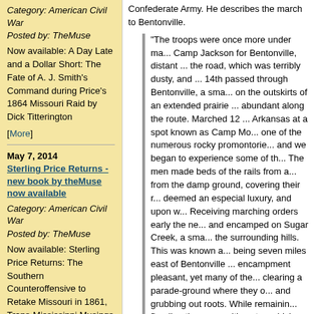Category: American Civil War
Posted by: TheMuse
Now available: A Day Late and a Dollar Short: The Fate of A. J. Smith's Command during Price's 1864 Missouri Raid by Dick Titterington
[More]
May 7, 2014
Sterling Price Returns - new book by theMuse now available
Category: American Civil War
Posted by: TheMuse
Now available: Sterling Price Returns: The Southern Counteroffensive to Retake Missouri in 1861, Trans-Mississippi Musings Volume 3 by Dick Titterington
Confederate Army. He describes the march to Bentonville.
"The troops were once more under ma... Camp Jackson for Bentonville, distant ... the road, which was terribly dusty, and ... 14th passed through Bentonville, a sma... on the outskirts of an extended prairie ... abundant along the route. Marched 12 ... Arkansas at a spot known as Camp Mo... one of the numerous rocky promontorie... and we began to experience some of th... The men made beds of the rails from a... from the damp ground, covering their r... deemed an especial luxury, and upon w... Receiving marching orders early the ne... and encamped on Sugar Creek, a sma... the surrounding hills. This was known a... being seven miles east of Bentonville ... encampment pleasant, yet many of the... clearing a parade-ground where they o... and grubbing out roots. While remainin... flooding the camp with water, which flo... sweeping away pans, basins, tables, e... of the thunder could be heard the shou... they were literally drowned out of their